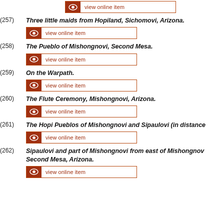[Figure (other): view online item button at top of page]
(257) Three little maids from Hopiland, Sichomovi, Arizona.
[Figure (other): view online item button]
(258) The Pueblo of Mishongnovi, Second Mesa.
[Figure (other): view online item button]
(259) On the Warpath.
[Figure (other): view online item button]
(260) The Flute Ceremony, Mishongnovi, Arizona.
[Figure (other): view online item button]
(261) The Hopi Pueblos of Mishongnovi and Sipaulovi (in distance)
[Figure (other): view online item button]
(262) Sipaulovi and part of Mishongnovi from east of Mishongnovi, Second Mesa, Arizona.
[Figure (other): view online item button (partially visible)]